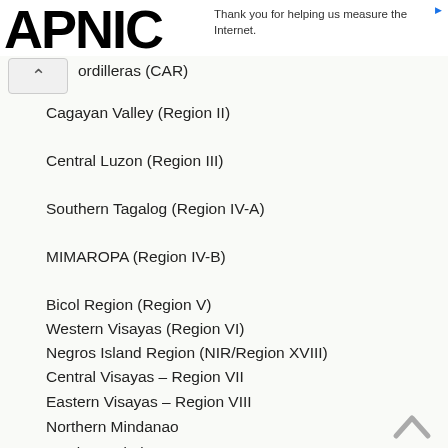APNIC — Thank you for helping us measure the Internet.
ordilleras (CAR)
Cagayan Valley (Region II)
Central Luzon (Region III)
Southern Tagalog (Region IV-A)
MIMAROPA (Region IV-B)
Bicol Region (Region V)
Western Visayas (Region VI)
Negros Island Region (NIR/Region XVIII)
Central Visayas – Region VII
Eastern Visayas – Region VIII
Northern Mindanao
Southern Mindanao